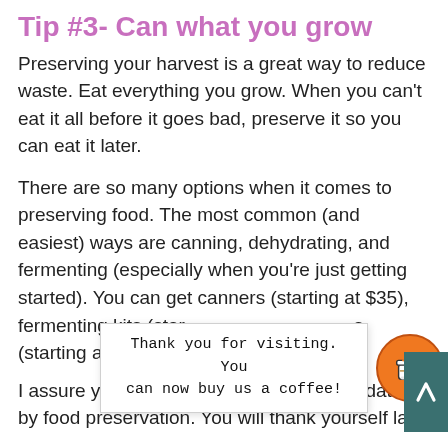Tip #3- Can what you grow
Preserving your harvest is a great way to reduce waste. Eat everything you grow. When you can't eat it all before it goes bad, preserve it so you can eat it later.
There are so many options when it comes to preserving food. The most common (and easiest) ways are canning, dehydrating, and fermenting (especially when you're just getting started). You can get canners (starting at $35), fermenting kits (starting at [obscured]) [obscured]s (starting around [obscured])
I assure you, there is no need to be intimidated by food preservation. You will thank yourself later
[Figure (infographic): Popup overlay with text 'Thank you for visiting. You can now buy us a coffee!' with an orange coffee cup circle button and a teal scroll-to-top arrow button]